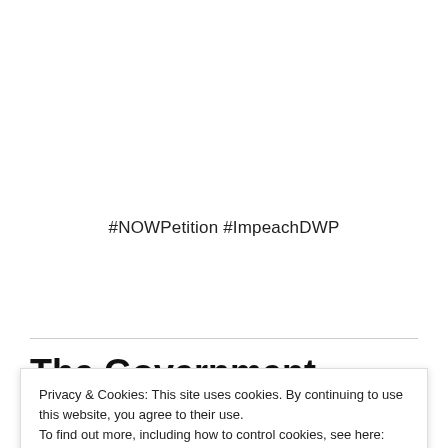#NOWPetition #ImpeachDWP
The Government Denies DWP Lies…YET…here are MORE “Lies and Damn Lies”
Privacy & Cookies: This site uses cookies. By continuing to use this website, you agree to their use.
To find out more, including how to control cookies, see here: Cookie Policy
Close and accept